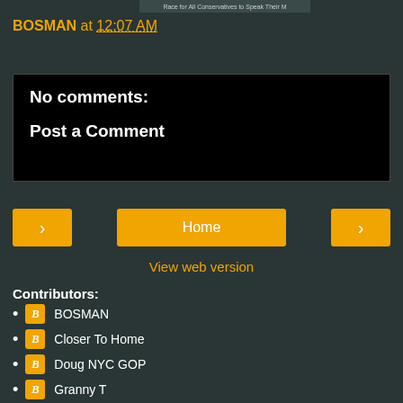[Figure (screenshot): Partial banner text: 'Race for All Conservatives to Speak Their M']
BOSMAN at 12:07 AM
Share
No comments:
Post a Comment
Home
View web version
Contributors:
BOSMAN
Closer To Home
Doug NYC GOP
Granny T